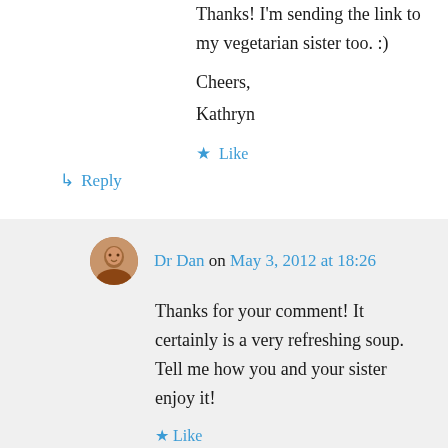of Thai, Indian, Mexican and other foods as well.
Thanks! I'm sending the link to my vegetarian sister too. :)
Cheers,
Kathryn
★ Like
↳ Reply
Dr Dan on May 3, 2012 at 18:26
Thanks for your comment! It certainly is a very refreshing soup. Tell me how you and your sister enjoy it!
★ Like
↳ Reply